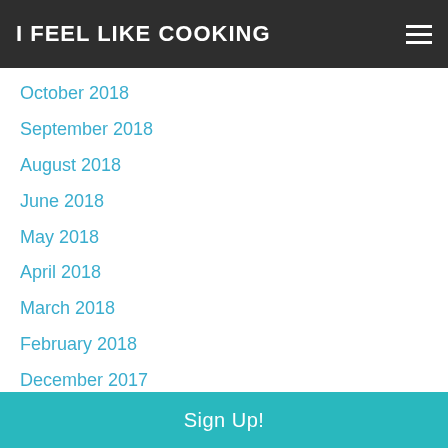I FEEL LIKE COOKING
October 2018
September 2018
August 2018
June 2018
May 2018
April 2018
March 2018
February 2018
December 2017
November 2017
October 2017
September 2017
August 2017
July 2017
June 2017
Sign Up!